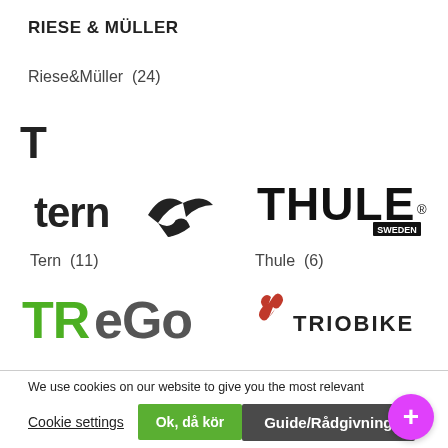RIESE & MÜLLER
Riese&Müller  (24)
T
[Figure (logo): Tern bicycle brand logo — black stylized bird with 'tern' text]
[Figure (logo): Thule Sweden logo in black bold uppercase with registered trademark symbol]
Tern  (11)
Thule  (6)
[Figure (logo): TReGo brand logo in green and grey bold letters]
[Figure (logo): Triobike brand logo with red stylized hand/leaf and dark text]
We use cookies on our website to give you the most relevant experience by remembering your preferences and repeat visits. By clicking “Accept”, you consent to the use of ALL the cookies.
Cookie settings
Ok, då kör
Guide/Rådgivning